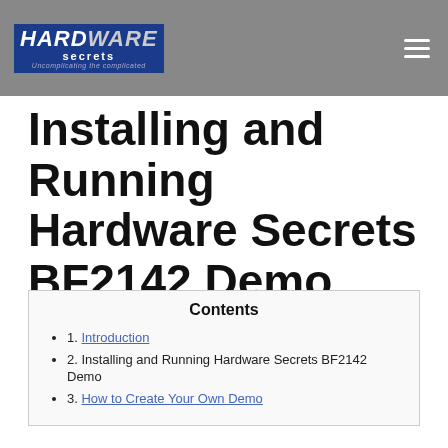Hardware Secrets — Uncomplicating the complicated
Installing and Running Hardware Secrets BF2142 Demo
Contents
1. Introduction
2. Installing and Running Hardware Secrets BF2142 Demo
3. How to Create Your Own Demo